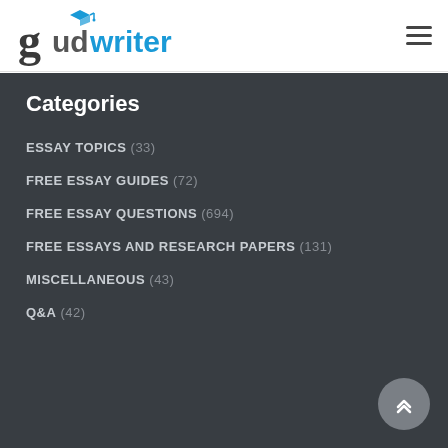[Figure (logo): Gudwriter logo with graduation cap icon and blue/grey text]
Categories
ESSAY TOPICS (33)
FREE ESSAY GUIDES (72)
FREE ESSAY QUESTIONS (694)
FREE ESSAYS AND RESEARCH PAPERS (131)
MISCELLANEOUS (43)
Q&A (42)